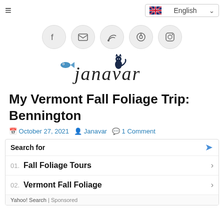[Figure (screenshot): Website header with hamburger menu icon on left and English language selector on right]
[Figure (illustration): Row of 5 social media icon circles: Facebook, Email/Envelope, RSS, Pinterest, Instagram]
[Figure (logo): Janavar blog logo with stylized text and small cat and fish icons]
My Vermont Fall Foliage Trip: Bennington
October 27, 2021  Janavar  1 Comment
Search for
01. Fall Foliage Tours
02. Vermont Fall Foliage
Yahoo! Search | Sponsored